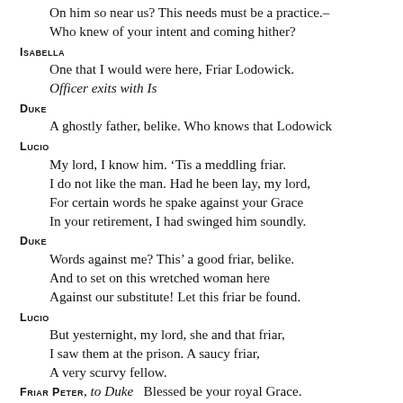On him so near us? This needs must be a practice.–
Who knew of your intent and coming hither?
ISABELLA
One that I would were here, Friar Lodowick.
Officer exits with Is
DUKE
A ghostly father, belike. Who knows that Lodowick
LUCIO
My lord, I know him. ‘Tis a meddling friar.
I do not like the man. Had he been lay, my lord,
For certain words he spake against your Grace
In your retirement, I had swinged him soundly.
DUKE
Words against me? This’ a good friar, belike.
And to set on this wretched woman here
Against our substitute! Let this friar be found.
LUCIO
But yesternight, my lord, she and that friar,
I saw them at the prison. A saucy friar,
A very scurvy fellow.
FRIAR PETER, to Duke   Blessed be your royal Grace.
I have stood by, my lord, and I have heard